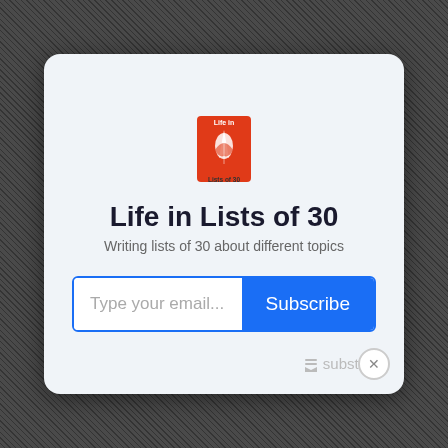[Figure (logo): Life in Lists of 30 logo — orange/red rectangular book-like shape with a white feather quill pen, text 'Life in' above and 'Lists of 30' below]
Life in Lists of 30
Writing lists of 30 about different topics
Type your email... Subscribe
[Figure (logo): Substack logo and wordmark in light gray]